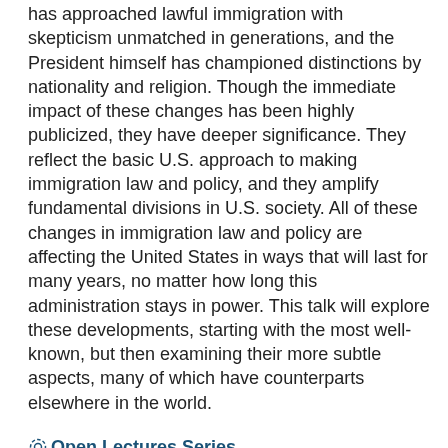has approached lawful immigration with skepticism unmatched in generations, and the President himself has championed distinctions by nationality and religion. Though the immediate impact of these changes has been highly publicized, they have deeper significance. They reflect the basic U.S. approach to making immigration law and policy, and they amplify fundamental divisions in U.S. society. All of these changes in immigration law and policy are affecting the United States in ways that will last for many years, no matter how long this administration stays in power. This talk will explore these developments, starting with the most well-known, but then examining their more subtle aspects, many of which have counterparts elsewhere in the world.
Open Lectures Series